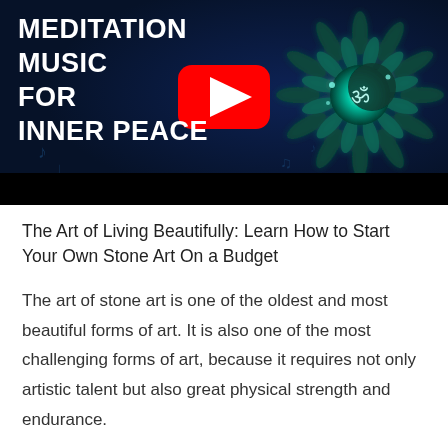[Figure (screenshot): YouTube video thumbnail showing 'Meditation Music for Inner Peace' with a YouTube play button, dark blue background with mandala/Om symbol in teal glow, and a black bar at the bottom.]
The Art of Living Beautifully: Learn How to Start Your Own Stone Art On a Budget
The art of stone art is one of the oldest and most beautiful forms of art. It is also one of the most challenging forms of art, because it requires not only artistic talent but also great physical strength and endurance.